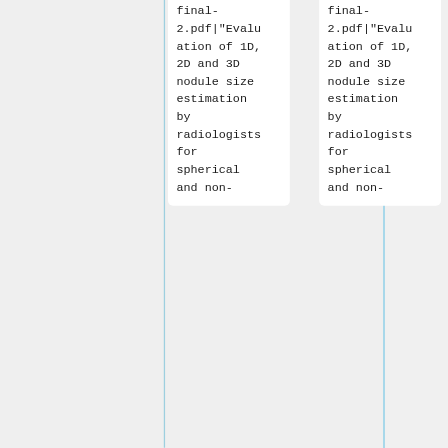through CT thoracic phantom imaging" - Talk]]
through CT thoracic phantom imaging" - Talk]]
* [[Media:Spie2011 NP QIBA1A-Paper-v08-final-2.pdf|"Evaluation of 1D, 2D and 3D nodule size estimation by radiologists for spherical and non-
* [[Media:Spie2011 NP QIBA1A-Paper-v08-final-2.pdf|"Evaluation of 1D, 2D and 3D nodule size estimation by radiologists for spherical and non-